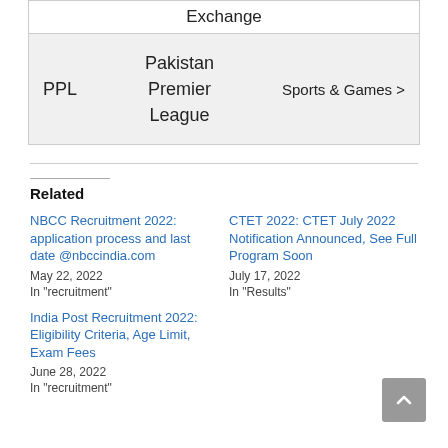|  | Exchange |  |
| --- | --- | --- |
| PPL | Pakistan Premier League | Sports & Games > |
Related
NBCC Recruitment 2022: application process and last date @nbccindia.com
May 22, 2022
In "recruitment"
CTET 2022: CTET July 2022 Notification Announced, See Full Program Soon
July 17, 2022
In "Results"
India Post Recruitment 2022: Eligibility Criteria, Age Limit, Exam Fees
June 28, 2022
In "recruitment"